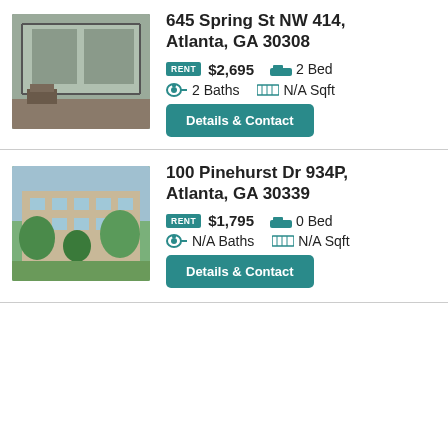[Figure (photo): Interior photo of apartment at 645 Spring St NW 414, Atlanta showing a deck/balcony area with furniture]
645 Spring St NW 414, Atlanta, GA 30308
RENT $2,695  2 Bed  2 Baths  N/A Sqft
Details & Contact
[Figure (photo): Exterior photo of apartment complex at 100 Pinehurst Dr 934P, Atlanta showing building with trees]
100 Pinehurst Dr 934P, Atlanta, GA 30339
RENT $1,795  0 Bed  N/A Baths  N/A Sqft
Details & Contact